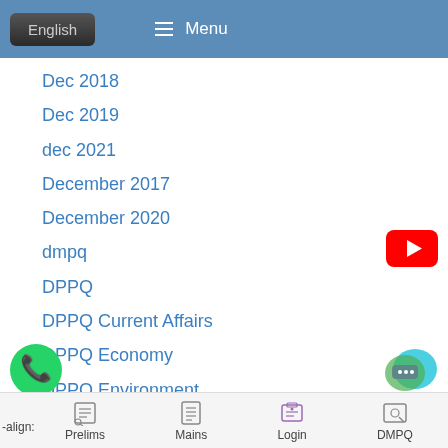English  Menu
Dec 2018
Dec 2019
dec 2021
December 2017
December 2020
dmpq
DPPQ
DPPQ Current Affairs
DPPQ Economy
DPPQ Environment
DPPQ Geography
-align:   Prelims   Mains   Login   DMPQ